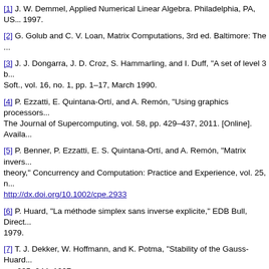[1]  J. W. Demmel, Applied Numerical Linear Algebra. Philadelphia, PA, US... 1997.
[2]  G. Golub and C. V. Loan, Matrix Computations, 3rd ed. Baltimore: The ...
[3]  J. J. Dongarra, J. D. Croz, S. Hammarling, and I. Duff, "A set of level 3 b... Soft., vol. 16, no. 1, pp. 1–17, March 1990.
[4]  P. Ezzatti, E. Quintana-Ortí, and A. Remón, "Using graphics processors... The Journal of Supercomputing, vol. 58, pp. 429–437, 2011. [Online]. Availa...
[5]  P. Benner, P. Ezzatti, E. S. Quintana-Ortí, and A. Remón, "Matrix invers... theory," Concurrency and Computation: Practice and Experience, vol. 25, n... http://dx.doi.org/10.1002/cpe.2933
[6]  P. Huard, "La méthode simplex sans inverse explicite," EDB Bull, Direct... 1979.
[7]  T. J. Dekker, W. Hoffmann, and K. Potma, "Stability of the Gauss-Huard... pp. 225–244, 1997.
[8]  J. P. Silva, E. Dufrechou, E. Quintana-Ortí, A. Remón, and P. Benner, "S... platforms," in Proceedings of the XLI Latin American Computing Conference...
[9]  OpenBLAS website, Z. Xianyi; [accessed 2015 Dec], http://www.openbl...
[10]  B. J. Smith, "R package MAGMA: Matrix algebra on GPU and multico... [On-line] http://cran.r-project.org/package=magma.
[11]  J. A. Gunnels, F. G. Gustavson, G. M. Henry, and R. A. van de Geijn, ... ACM Trans. Math. Soft., vol. 27, no. 4, pp. 422–455, 2001.